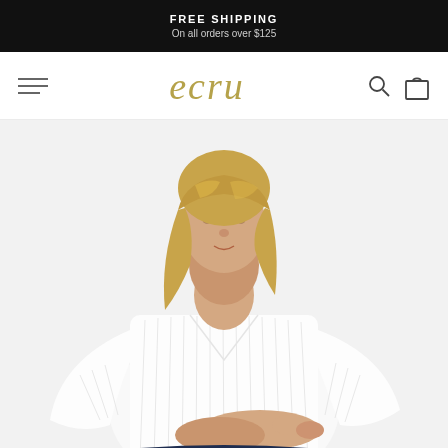FREE SHIPPING
On all orders over $125
ecru
[Figure (photo): Model wearing a white ribbed V-neck long-sleeve sweater with hands crossed, paired with navy skirt, on light gray background]